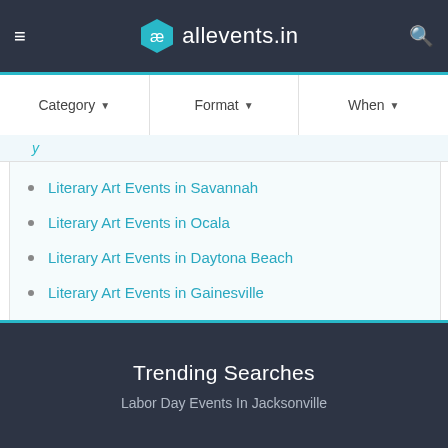allevents.in
Category ▾   Format ▾   When ▾
Literary Art Events in Savannah
Literary Art Events in Ocala
Literary Art Events in Daytona Beach
Literary Art Events in Gainesville
Literary Art Events in Kissimmee
Trending Searches
Labor Day Events In Jacksonville